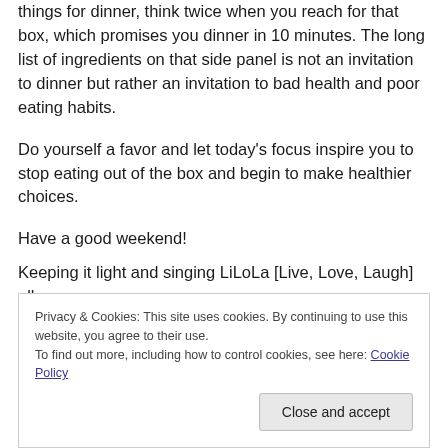things for dinner, think twice when you reach for that box, which promises you dinner in 10 minutes. The long list of ingredients on that side panel is not an invitation to dinner but rather an invitation to bad health and poor eating habits.
Do yourself a favor and let today’s focus inspire you to stop eating out of the box and begin to make healthier choices.
Have a good weekend!
Keeping it light and singing LiLoLa [Live, Love, Laugh] all
Privacy & Cookies: This site uses cookies. By continuing to use this website, you agree to their use. To find out more, including how to control cookies, see here: Cookie Policy
Close and accept